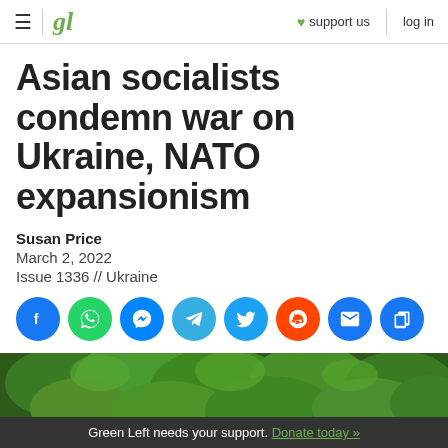gl | ♥ support us | log in
Asian socialists condemn war on Ukraine, NATO expansionism
Susan Price
March 2, 2022
Issue 1336 // Ukraine
[Figure (other): Social share buttons row: Facebook, WhatsApp, Messenger, Telegram, Twitter, Reddit, Email, Copy link]
[Figure (photo): Photo of green trees/foliage outdoors, with a partial protest sign visible at lower left reading NVS or NYS]
Green Left needs your support. Donate today »